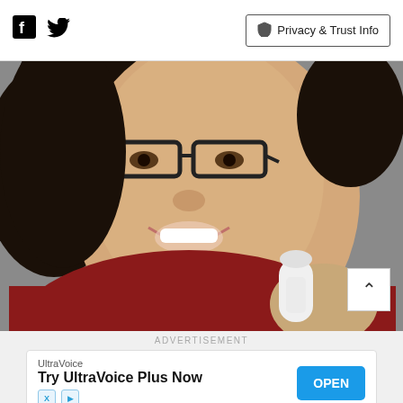Facebook Twitter Privacy & Trust Info
[Figure (photo): A smiling Asian woman with glasses wearing a red top, holding a baby who is being bottle-fed, photographed against a grey background.]
ADVERTISEMENT
UltraVoice
Try UltraVoice Plus Now
OPEN